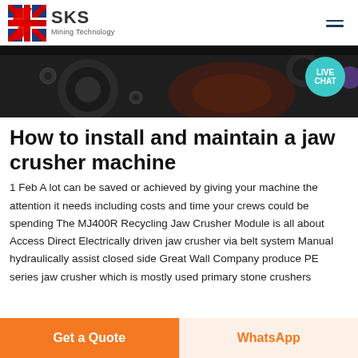SKS Mining Technology
[Figure (photo): Dark industrial hero image showing machinery parts with a teal 'LIVE CHAT' speech bubble overlay in the top right corner.]
How to install and maintain a jaw crusher machine
1 Feb A lot can be saved or achieved by giving your machine the attention it needs including costs and time your crews could be spending The MJ400R Recycling Jaw Crusher Module is all about Access Direct Electrically driven jaw crusher via belt system Manual hydraulically assist closed side Great Wall Company produce PE series jaw crusher which is mostly used primary stone crushers